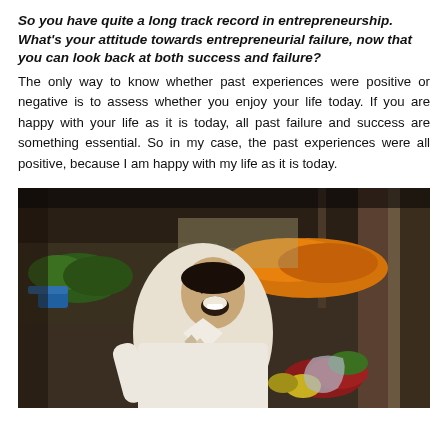So you have quite a long track record in entrepreneurship. What's your attitude towards entrepreneurial failure, now that you can look back at both success and failure?
The only way to know whether past experiences were positive or negative is to assess whether you enjoy your life today. If you are happy with your life as it is today, all past failure and success are something essential. So in my case, the past experiences were all positive, because I am happy with my life as it is today.
[Figure (photo): A smiling Asian man in a white shirt with a scarf, laughing joyfully, standing in what appears to be an outdoor market with colorful produce and goods visible in the background.]